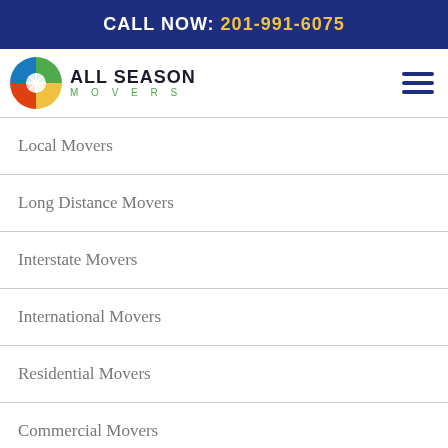CALL NOW: 201-991-6075
[Figure (logo): All Season Movers logo with circular seasonal icon and company name]
Local Movers
Long Distance Movers
Interstate Movers
International Movers
Residential Movers
Commercial Movers
Furniture Movers